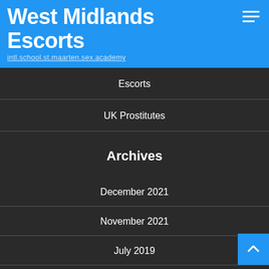West Midlands Escorts
intl.school.st.maarten.sex.academy
Escorts
UK Prostitutes
Archives
December 2021
November 2021
July 2019
M   T   W   T   F   S   S